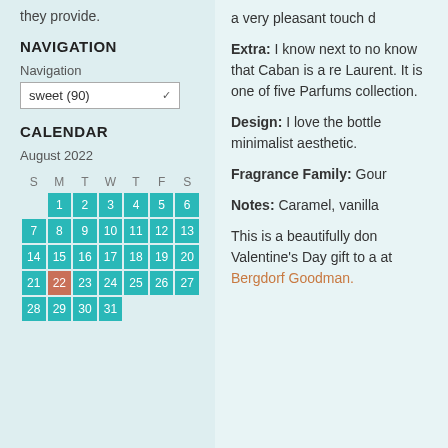they provide.
NAVIGATION
Navigation
sweet (90)
CALENDAR
August 2022
| S | M | T | W | T | F | S |
| --- | --- | --- | --- | --- | --- | --- |
|  | 1 | 2 | 3 | 4 | 5 | 6 |
| 7 | 8 | 9 | 10 | 11 | 12 | 13 |
| 14 | 15 | 16 | 17 | 18 | 19 | 20 |
| 21 | 22 | 23 | 24 | 25 | 26 | 27 |
| 28 | 29 | 30 | 31 |  |  |  |
a very pleasant touch d
Extra: I know next to no know that Caban is a re Laurent. It is one of five Parfums collection.
Design: I love the bottle minimalist aesthetic.
Fragrance Family: Gour
Notes: Caramel, vanilla
This is a beautifully don Valentine's Day gift to a at Bergdorf Goodman.